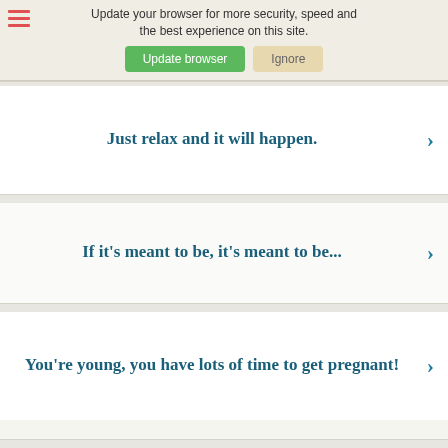Update your browser for more security, speed and the best experience on this site. Update browser | Ignore
Just relax and it will happen.
If it's meant to be, it's meant to be...
You're young, you have lots of time to get pregnant!